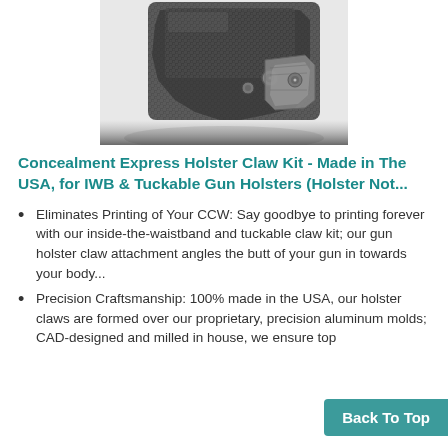[Figure (photo): Close-up black and white photo of a gun holster claw attachment showing carbon fiber pattern and metal hardware]
Concealment Express Holster Claw Kit - Made in The USA, for IWB & Tuckable Gun Holsters (Holster Not...
Eliminates Printing of Your CCW: Say goodbye to printing forever with our inside-the-waistband and tuckable claw kit; our gun holster claw attachment angles the butt of your gun in towards your body...
Precision Craftsmanship: 100% made in the USA, our holster claws are formed over our proprietary, precision aluminum molds; CAD-designed and milled in house, we ensure top